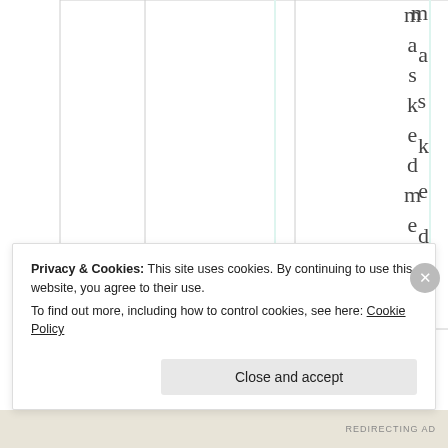|  |  |  |  |  | masked met ol |
Privacy & Cookies: This site uses cookies. By continuing to use this website, you agree to their use.
To find out more, including how to control cookies, see here: Cookie Policy

Close and accept
REDIRECTING AD